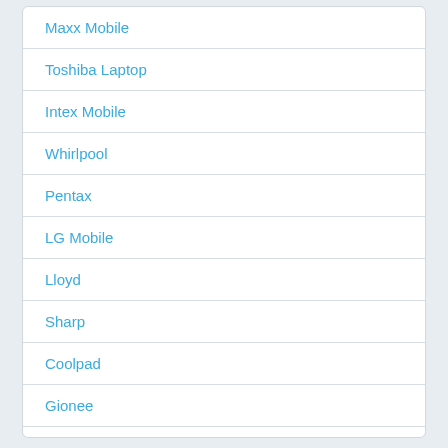Maxx Mobile
Toshiba Laptop
Intex Mobile
Whirlpool
Pentax
LG Mobile
Lloyd
Sharp
Coolpad
Gionee
Qiku
Sony Mobile
Eveready